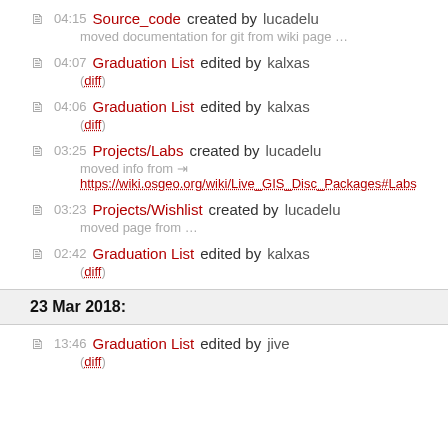04:15 Source_code created by lucadelu — moved documentation for git from wiki page …
04:07 Graduation List edited by kalxas (diff)
04:06 Graduation List edited by kalxas (diff)
03:25 Projects/Labs created by lucadelu — moved info from https://wiki.osgeo.org/wiki/Live_GIS_Disc_Packages#Labs
03:23 Projects/Wishlist created by lucadelu — moved page from …
02:42 Graduation List edited by kalxas (diff)
23 Mar 2018:
13:46 Graduation List edited by jive (diff)